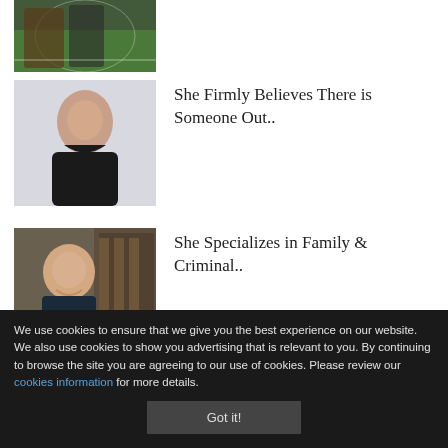[Figure (photo): Partial image of an athlete (football/soccer player) on a field, cropped at top]
[Figure (photo): Woman in black dress with arms crossed, smiling, light background]
She Firmly Believes There is Someone Out..
[Figure (photo): Young woman with long brown hair smiling, seated at desk with law books in background]
She Specializes in Family & Criminal..
[Figure (photo): Blonde woman partially visible, light background with plant]
The Goal of Her Practice is to Facilitat..
We use cookies to ensure that we give you the best experience on our website. We also use cookies to show you advertising that is relevant to you. By continuing to browse the site you are agreeing to our use of cookies. Please review our cookies information for more details.